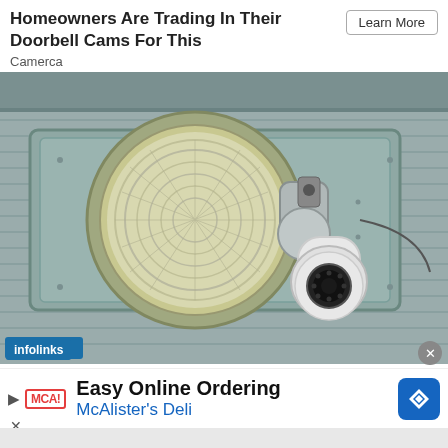Homeowners Are Trading In Their Doorbell Cams For This
Camerca
Learn More
[Figure (photo): Outdoor security camera mounted next to a large floodlight on a gray siding wall. White PTZ-style camera pointed downward, mounted on a rectangular fixture.]
infolinks
Easy Online Ordering
McAlister's Deli